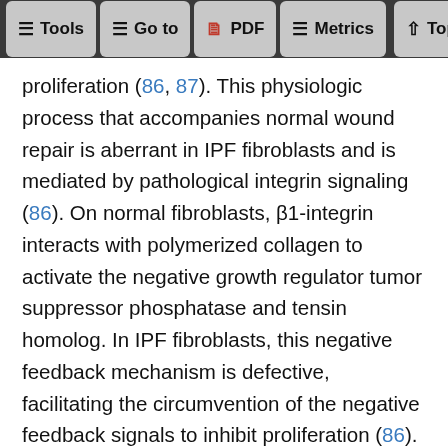Tools | Go to | PDF | Metrics | Top
proliferation (86, 87). This physiologic process that accompanies normal wound repair is aberrant in IPF fibroblasts and is mediated by pathological integrin signaling (86). On normal fibroblasts, β1-integrin interacts with polymerized collagen to activate the negative growth regulator tumor suppressor phosphatase and tensin homolog. In IPF fibroblasts, this negative feedback mechanism is defective, facilitating the circumvention of the negative feedback signals to inhibit proliferation (86). This is accompanied by aberrant activation of the PI3K/Akt/S6K1 signaling pathway in IPF fibroblasts (86, 88). There is also evidence of genome-wide derangements in translational control in IPF fibroblasts, detectable after nine generations in culture and resulting in ribosomal recruitment of